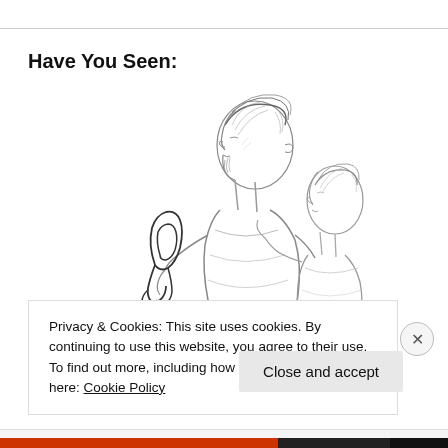Have You Seen:
[Figure (illustration): Pencil sketch of two people standing back-to-back, one taller bearded man looking upward with a signature/monogram drawn to his left, and a shorter person behind him also looking upward.]
Privacy & Cookies: This site uses cookies. By continuing to use this website, you agree to their use.
To find out more, including how to control cookies, see here: Cookie Policy
Close and accept